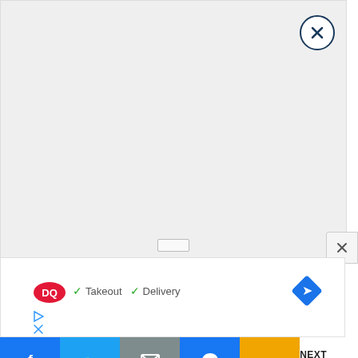[Figure (screenshot): Gray ad placeholder area with a circular close button (X) in the top right corner]
[Figure (screenshot): Small rectangular close (X) button on the right edge mid-screen]
[Figure (infographic): Dairy Queen ad bar showing DQ logo, checkmarks for Takeout and Delivery, and a blue directions diamond icon, with ad control play and close icons below]
[Figure (screenshot): Social sharing bar with Facebook, Twitter, Email, Messenger, More (dot dot dot) buttons and NEXT ARTICLE chevron]